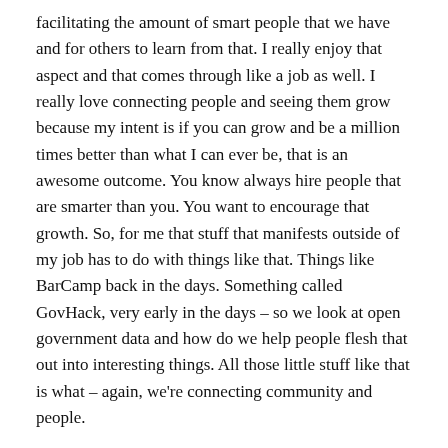facilitating the amount of smart people that we have and for others to learn from that. I really enjoy that aspect and that comes through like a job as well. I really love connecting people and seeing them grow because my intent is if you can grow and be a million times better than what I can ever be, that is an awesome outcome. You know always hire people that are smarter than you. You want to encourage that growth. So, for me that stuff that manifests outside of my job has to do with things like that. Things like BarCamp back in the days. Something called GovHack, very early in the days – so we look at open government data and how do we help people flesh that out into interesting things. All those little stuff like that is what – again, we're connecting community and people.
And something else I do that's not even related is I love making. My hubby and I, we're both makers. We're like crafting things. So, I make science-themed jewelry for fun on the side, using our lasers and 3D printers. For some reason, that process of designing something that's very, very tangible and you're